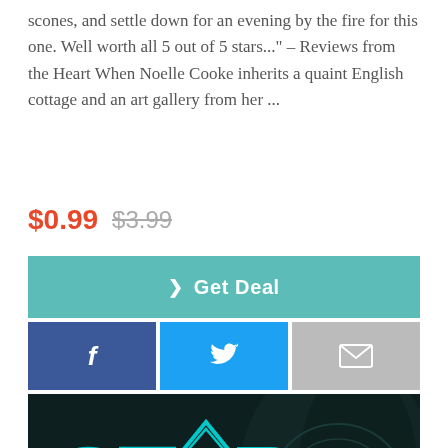scones, and settle down for an evening by the fire for this one. Well worth all 5 out of 5 stars..." – Reviews from the Heart When Noelle Cooke inherits a quaint English cottage and an art gallery from her ...
$0.99  $3.99
> Get Deal
[Figure (other): Social share buttons: Facebook (f), Twitter (bird), Email (envelope)]
[Figure (illustration): Star Force logo on dark sci-fi background with teal outlined text STAR FORCE and a diamond/star symbol replacing the letter O]